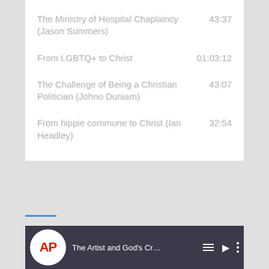The Ministry of Hospital Chaplaincy (Jason Summers)    43:37
From LGBTQ+ to Christ    01:03:12
The Challenge of Being a Christian Politician (Johno Duniam)    43:07
From hippie commune to Christ (Ian Headley)    32:54
[Figure (screenshot): AP News video thumbnail showing 'The Artist and God's Cr...' with AP logo, playlist icon, and more options icon]